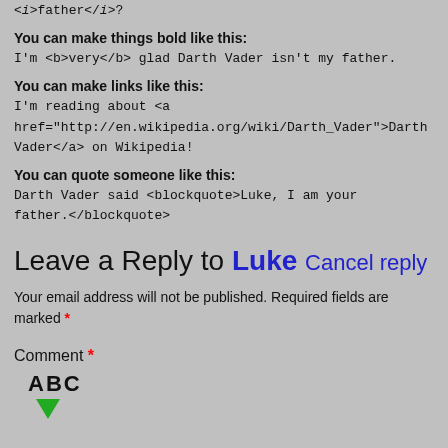<i>father</i>?
You can make things bold like this:
I'm <b>very</b> glad Darth Vader isn't my father.
You can make links like this:
I'm reading about <a href="http://en.wikipedia.org/wiki/Darth_Vader">Darth Vader</a> on Wikipedia!
You can quote someone like this:
Darth Vader said <blockquote>Luke, I am your father.</blockquote>
Leave a Reply to Luke Cancel reply
Your email address will not be published. Required fields are marked *
Comment *
[Figure (logo): ABC logo with green checkmark]